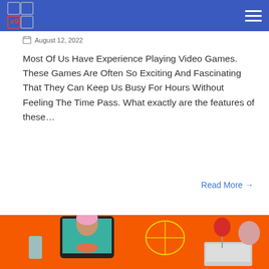Logo and navigation header
August 12, 2022
Most Of Us Have Experience Playing Video Games. These Games Are Often So Exciting And Fascinating That They Can Keep Us Busy For Hours Without Feeling The Time Pass. What exactly are the features of these…
Read More →
[Figure (illustration): Colorful illustration on orange background showing people socializing virtually via tablet screens, with drinks and food items visible]